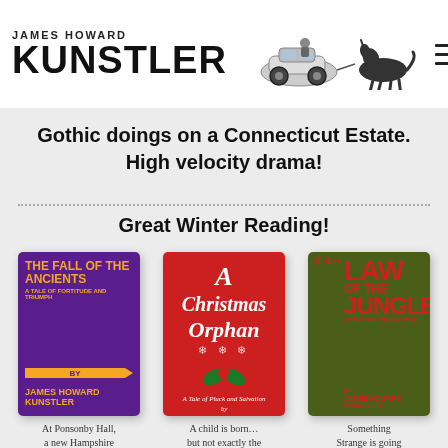JAMES HOWARD KUNSTLER
Three Teenagers who bring him down
Gothic doings on a Connecticut Estate. High velocity drama!
Great Winter Reading!
[Figure (illustration): Book cover: The Fall of the Ancients - A Tale of Fortitude and Triumph by James Howard Kunstler, purple background with orange text]
[Figure (illustration): Book cover: A Christmas Orphan - A Tale of Pluck and Salvation by James Howard Kunstler, red background with white italic text and holly decoration]
[Figure (illustration): Book cover: The Law of the Jungle - A Tale of Loss and Woe by James Howard Kunstler, dark green background with red text]
At Ponsonby Hall, a new Hampshire
A child is born… but not exactly the
Something Strange is going on at Camp